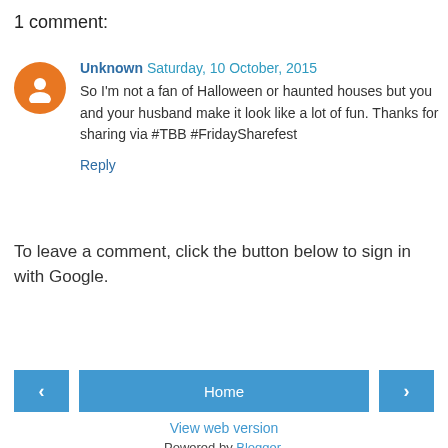1 comment:
Unknown Saturday, 10 October, 2015
So I'm not a fan of Halloween or haunted houses but you and your husband make it look like a lot of fun. Thanks for sharing via #TBB #FridaySharefest
Reply
To leave a comment, click the button below to sign in with Google.
[Figure (other): SIGN IN WITH GOOGLE button — a blue rectangular button with white uppercase text]
[Figure (other): Navigation bar with left arrow button, Home button, and right arrow button, all in blue]
View web version
Powered by Blogger.